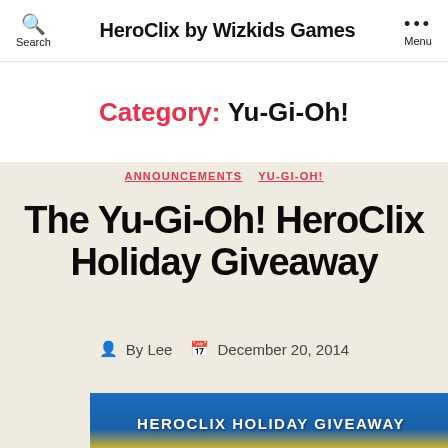HeroClix by Wizkids Games
Category: Yu-Gi-Oh!
ANNOUNCEMENTS  YU-GI-OH!
The Yu-Gi-Oh! HeroClix Holiday Giveaway
By Lee  December 20, 2014
[Figure (photo): HeroClix Holiday Giveaway banner image with blue background and yellow text]